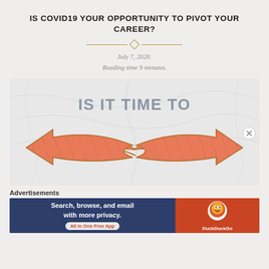IS COVID19 YOUR OPPORTUNITY TO PIVOT YOUR CAREER?
July 7, 2020.
Reading time 9 minutes.
[Figure (illustration): Hero image with marble background showing text 'IS IT TIME TO' with two large opposing arrows (salmon/orange colored with golden outlines) pointing left and right, curving toward the center bottom.]
Advertisements
[Figure (other): DuckDuckGo advertisement banner: 'Search, browse, and email with more privacy. All in One Free App' with DuckDuckGo logo on right side.]